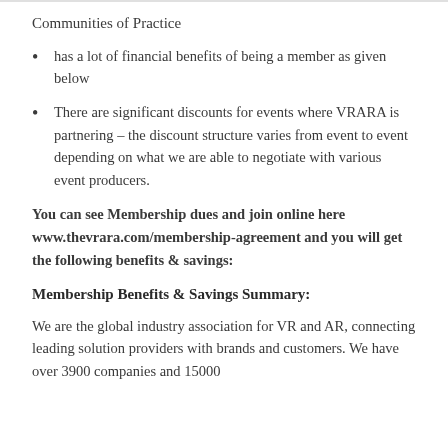Communities of Practice
has a lot of financial benefits of being a member as given below
There are significant discounts for events where VRARA is partnering – the discount structure varies from event to event depending on what we are able to negotiate with various event producers.
You can see Membership dues and join online here www.thevrara.com/membership-agreement and you will get the following benefits & savings:
Membership Benefits & Savings Summary:
We are the global industry association for VR and AR, connecting leading solution providers with brands and customers. We have over 3900 companies and 15000